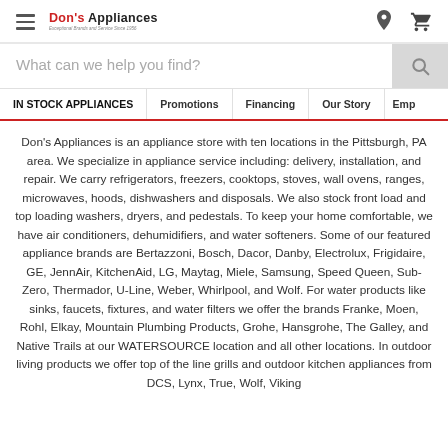Don's Appliances — navigation header with hamburger menu, logo, location icon, cart icon
[Figure (screenshot): Search bar with placeholder text 'What can we help you find?' and a search icon button]
IN STOCK APPLIANCES | Promotions | Financing | Our Story | Emp
Don's Appliances is an appliance store with ten locations in the Pittsburgh, PA area. We specialize in appliance service including: delivery, installation, and repair. We carry refrigerators, freezers, cooktops, stoves, wall ovens, ranges, microwaves, hoods, dishwashers and disposals. We also stock front load and top loading washers, dryers, and pedestals. To keep your home comfortable, we have air conditioners, dehumidifiers, and water softeners. Some of our featured appliance brands are Bertazzoni, Bosch, Dacor, Danby, Electrolux, Frigidaire, GE, JennAir, KitchenAid, LG, Maytag, Miele, Samsung, Speed Queen, Sub-Zero, Thermador, U-Line, Weber, Whirlpool, and Wolf. For water products like sinks, faucets, fixtures, and water filters we offer the brands Franke, Moen, Rohl, Elkay, Mountain Plumbing Products, Grohe, Hansgrohe, The Galley, and Native Trails at our WATERSOURCE location and all other locations. In outdoor living products we offer top of the line grills and outdoor kitchen appliances from DCS, Lynx, True, Wolf, Viking